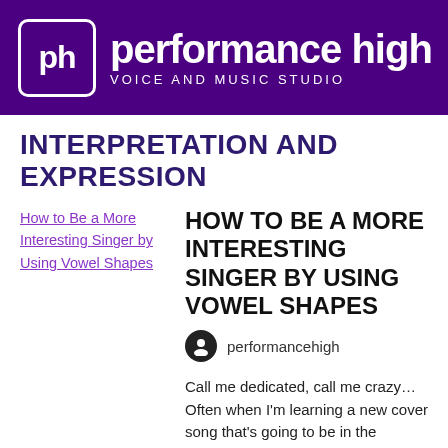[Figure (logo): Performance High Voice and Music Studio logo — purple banner with 'ph' in a rounded square and text 'performance high / VOICE AND MUSIC STUDIO' in white]
INTERPRETATION AND EXPRESSION
[Figure (illustration): Broken image placeholder link: 'How to Be a More Interesting Singer by Using Vowel Shapes']
HOW TO BE A MORE INTERESTING SINGER BY USING VOWEL SHAPES
performancehigh
Call me dedicated, call me crazy… Often when I'm learning a new cover song that's going to be in the repertoire for a while, I record myself singing it.  Then I compare myself with